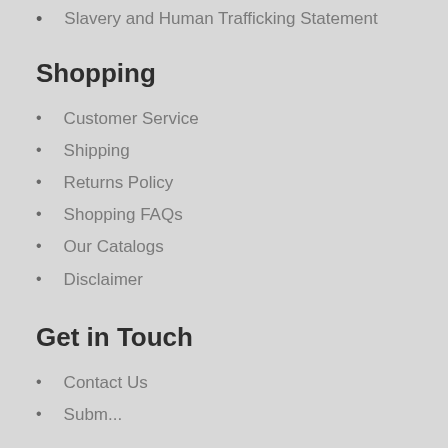Slavery and Human Trafficking Statement
Shopping
Customer Service
Shipping
Returns Policy
Shopping FAQs
Our Catalogs
Disclaimer
Get in Touch
Contact Us
Subm...